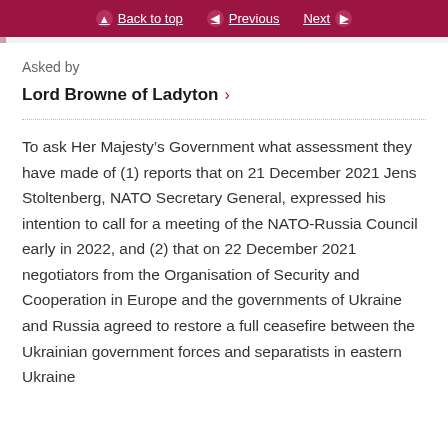Back to top  Previous  Next
Asked by
Lord Browne of Ladyton
To ask Her Majesty’s Government what assessment they have made of (1) reports that on 21 December 2021 Jens Stoltenberg, NATO Secretary General, expressed his intention to call for a meeting of the NATO-Russia Council early in 2022, and (2) that on 22 December 2021 negotiators from the Organisation of Security and Cooperation in Europe and the governments of Ukraine and Russia agreed to restore a full ceasefire between the Ukrainian government forces and separatists in eastern Ukraine